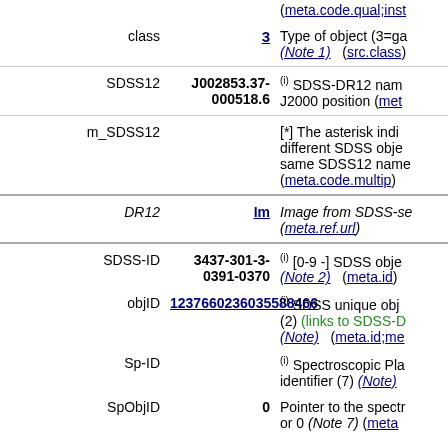(meta.code.qual;inst
| Label | Value | Description |
| --- | --- | --- |
| class | 3 | Type of object (3=ga... (Note 1) (src.class) |
| SDSS12 | J002853.37-000518.6 | (i) SDSS-DR12 name J2000 position (meta... |
| m_SDSS12 |  | [*] The asterisk indi... different SDSS obje... same SDSS12 name... (meta.code.multip) |
| DR12 | Im | Image from SDSS-se... (meta.ref.url) |
| SDSS-ID | 3437-301-3-0391-0370 | (i) [0-9 -] SDSS obje... (Note 2) (meta.id) |
| objID | 1237660236035588466 | (i) SDSS unique obj... (2) (links to SDSS-D... (Note) (meta.id;me... |
| Sp-ID |  | (i) Spectroscopic Pla... identifier (7) (Note) |
| SpObjID | 0 | Pointer to the spectr... or 0 (Note 7) (meta... |